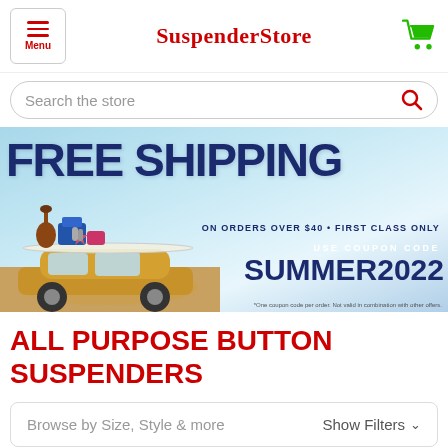SuspenderStore
Search the store
[Figure (infographic): Promotional banner showing FREE SHIPPING on orders over $40, First Class Only. Use coupon code SUMMER2022. Features illustration of a car loaded with summer items on a beach background. Fine print: One coupon code per order. Not valid in combination with other offers.]
ALL PURPOSE BUTTON SUSPENDERS
Browse by Size, Style & more    Show Filters